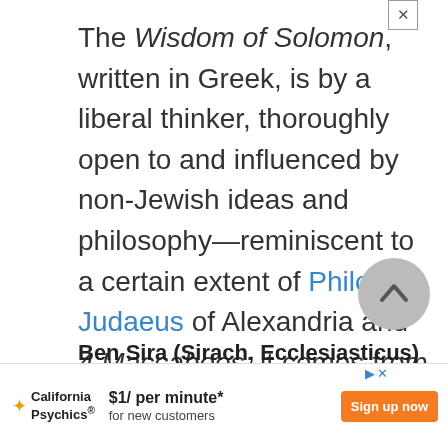The Wisdom of Solomon, written in Greek, is by a liberal thinker, thoroughly open to and influenced by non-Jewish ideas and philosophy—reminiscent to a certain extent of Philo Judaeus of Alexandria and 4 Maccabees; it comes from Egypt, probably Alexandria.
Ben Sira (Sirach, Ecclesiasticus)
The author addressed his work to fell...
[Figure (other): Advertisement banner for California Psychics: $1/ per minute* for new customers, Sign up now button]